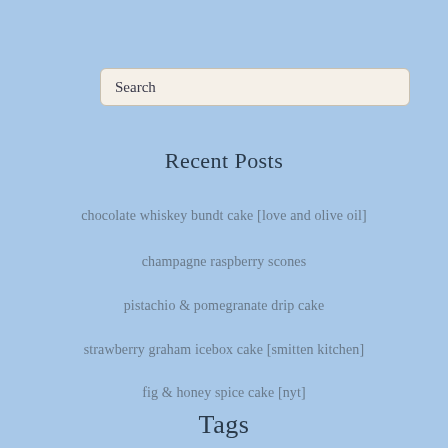Search
Recent Posts
chocolate whiskey bundt cake [love and olive oil]
champagne raspberry scones
pistachio & pomegranate drip cake
strawberry graham icebox cake [smitten kitchen]
fig & honey spice cake [nyt]
Tags